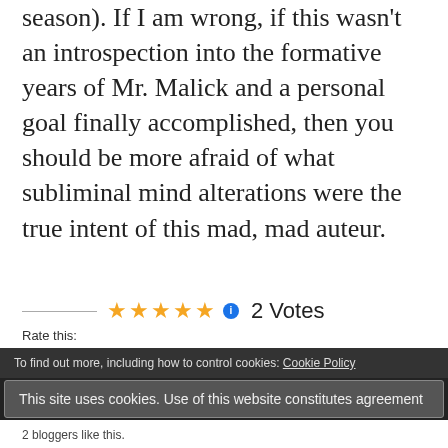season). If I am wrong, if this wasn't an introspection into the formative years of Mr. Malick and a personal goal finally accomplished, then you should be more afraid of what subliminal mind alterations were the true intent of this mad, mad auteur.
Rate this: ★★★★★ ℹ 2 Votes
Shovel Our Graveyard Dirt:
To find out more, including how to control cookies: Cookie Policy
This site uses cookies. Use of this website constitutes agreement
2 bloggers like this.